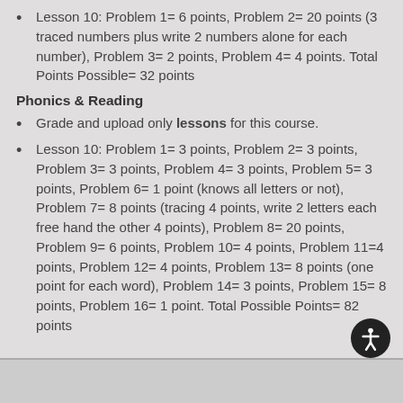Lesson 10: Problem 1= 6 points, Problem 2= 20 points (3 traced numbers plus write 2 numbers alone for each number), Problem 3= 2 points, Problem 4= 4 points. Total Points Possible= 32 points
Phonics & Reading
Grade and upload only lessons for this course.
Lesson 10: Problem 1= 3 points, Problem 2= 3 points, Problem 3= 3 points, Problem 4= 3 points, Problem 5= 3 points, Problem 6= 1 point (knows all letters or not), Problem 7= 8 points (tracing 4 points, write 2 letters each free hand the other 4 points), Problem 8= 20 points, Problem 9= 6 points, Problem 10= 4 points, Problem 11=4 points, Problem 12= 4 points, Problem 13= 8 points (one point for each word), Problem 14= 3 points, Problem 15= 8 points, Problem 16= 1 point. Total Possible Points= 82 points